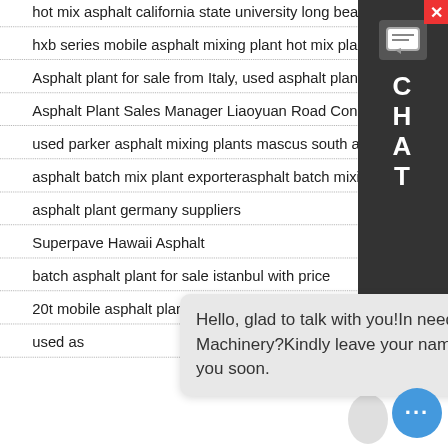hot mix asphalt california state university long beach
hxb series mobile asphalt mixing plant hot mix plant
Asphalt plant for sale from Italy, used asphalt plant from
Asphalt Plant Sales Manager Liaoyuan Road Construction
used parker asphalt mixing plants mascus south africa
asphalt batch mix plant exporterasphalt batch mixing
asphalt plant germany suppliers
Superpave Hawaii Asphalt
batch asphalt plant for sale istanbul with price
20t mobile asphalt plant specification
used asphalt
Hello, glad to talk with you!In needs of Engineering Machinery?Kindly leave your name & email, we will reply you soon.